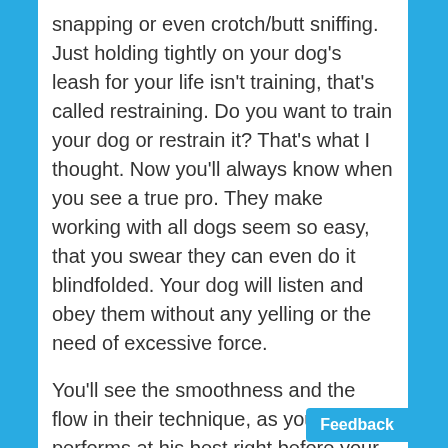snapping or even crotch/butt sniffing. Just holding tightly on your dog's leash for your life isn't training, that's called restraining. Do you want to train your dog or restrain it? That's what I thought. Now you'll always know when you see a true pro. They make working with all dogs seem so easy, that you swear they can even do it blindfolded. Your dog will listen and obey them without any yelling or the need of excessive force.
You'll see the smoothness and the flow in their technique, as your dog performs at his best right before your eyes--as if it is "their" dog and NOT yours.
This simply reflects the fact that they've worked with thousands of different breeds of dogs, have years of hands-on experience, and possess that amazing ability to accurately read dogs' temperament and body language with no effort and be able to apply their training techniques on any dog. Their...